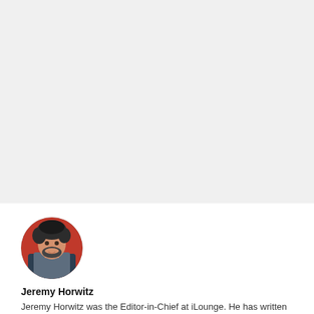[Figure (photo): Circular profile photo of Jeremy Horwitz, a man with curly dark hair and a beard, wearing a blue jacket, photographed in a colorful indoor setting.]
Jeremy Horwitz
Jeremy Horwitz was the Editor-in-Chief at iLounge. He has written over